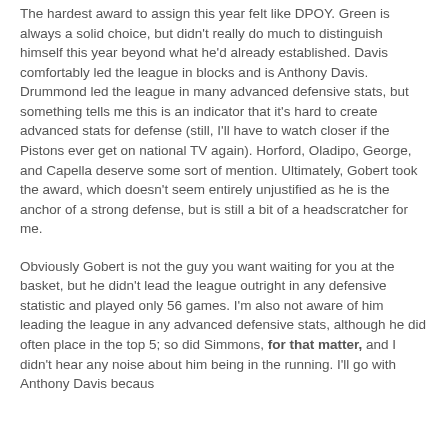The hardest award to assign this year felt like DPOY. Green is always a solid choice, but didn't really do much to distinguish himself this year beyond what he'd already established. Davis comfortably led the league in blocks and is Anthony Davis. Drummond led the league in many advanced defensive stats, but something tells me this is an indicator that it's hard to create advanced stats for defense (still, I'll have to watch closer if the Pistons ever get on national TV again). Horford, Oladipo, George, and Capella deserve some sort of mention. Ultimately, Gobert took the award, which doesn't seem entirely unjustified as he is the anchor of a strong defense, but is still a bit of a headscratcher for me.
Obviously Gobert is not the guy you want waiting for you at the basket, but he didn't lead the league outright in any defensive statistic and played only 56 games. I'm also not aware of him leading the league in any advanced defensive stats, although he did often place in the top 5; so did Simmons, for that matter, and I didn't hear any noise about him being in the running. I'll go with Anthony Davis because...